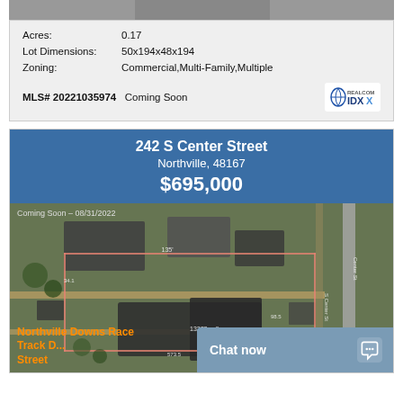[Figure (photo): Aerial/satellite photo of property (partially visible at top)]
Acres: 0.17
Lot Dimensions: 50x194x48x194
Zoning: Commercial,Multi-Family,Multiple
MLS# 20221035974   Coming Soon
[Figure (logo): Realcom IDX logo]
242 S Center Street
Northville, 48167
$695,000
[Figure (photo): Aerial map/satellite view of 242 S Center Street property in Northville with Coming Soon overlay dated 08/31/2022]
Northville Downs Race Track D... Street
Chat now